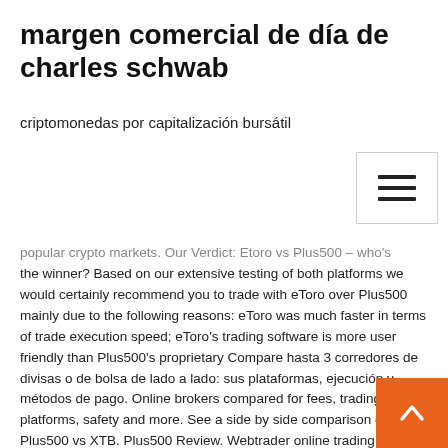margen comercial de día de charles schwab
criptomonedas por capitalización bursátil
popular crypto markets. Our Verdict: Etoro vs Plus500 – who's the winner? Based on our extensive testing of both platforms we would certainly recommend you to trade with eToro over Plus500 mainly due to the following reasons: eToro was much faster in terms of trade execution speed; eToro's trading software is more user friendly than Plus500's proprietary Compare hasta 3 corredores de divisas o de bolsa de lado a lado: sus plataformas, ejecución y métodos de pago. Online brokers compared for fees, trading platforms, safety and more. See a side by side comparison of Plus500 vs XTB. Plus500 Review. Webtrader online trading platform rated, plus demo account details and info on minimum deposits, fees trade size. Login today!